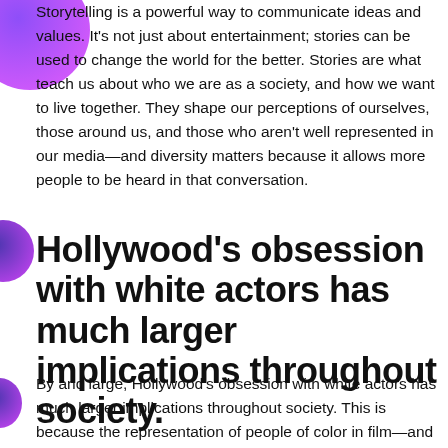Storytelling is a powerful way to communicate ideas and values. It's not just about entertainment; stories can be used to change the world for the better. Stories are what teach us about who we are as a society, and how we want to live together. They shape our perceptions of ourselves, those around us, and those who aren't well represented in our media—and diversity matters because it allows more people to be heard in that conversation.
Hollywood's obsession with white actors has much larger implications throughout society.
By and large, Hollywood's obsession with white actors has much larger implications throughout society. This is because the representation of people of color in film—and by extension, television—is so limited that it becomes difficult for people who